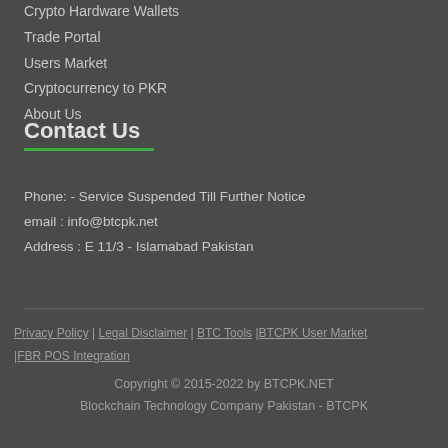Crypto Hardware Wallets
Trade Portal
Users Market
Cryptocurrency to PKR
About Us
Contact Us
Phone: - Service Suspended Till Further Notice
email : info@btcpk.net
Address : E 11/3 - Islamabad Pakistan
Privacy Policy | Legal Disclaimer | BTC Tools |BTCPK User Market |FBR POS Integration
Copyright © 2015-2022 by BTCPK.NET
Blockchain Technology Company Pakistan - BTCPK